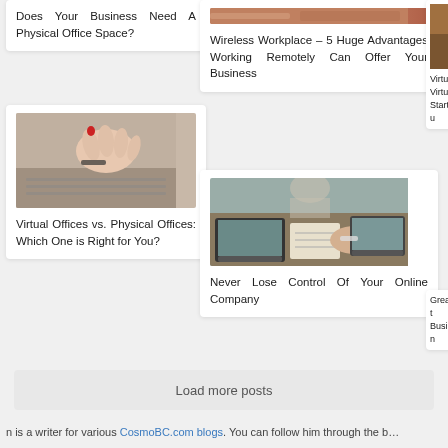Does Your Business Need A Physical Office Space?
[Figure (photo): Person typing on laptop keyboard, close-up of hands]
Virtual Offices vs. Physical Offices: Which One is Right for You?
[Figure (photo): Wireless workplace photo (cropped, partial visible at top)]
Wireless Workplace – 5 Huge Advantages Working Remotely Can Offer Your Business
[Figure (photo): Two people working on laptops and documents at a meeting table]
Never Lose Control Of Your Online Company
[Figure (photo): Partial photo (right side, cropped) - office/chair]
Virtu... Virtu... Startu...
Great... Busin...
Load more posts
n is a writer for various CosmoBC.com blogs. You can follow him through the b...